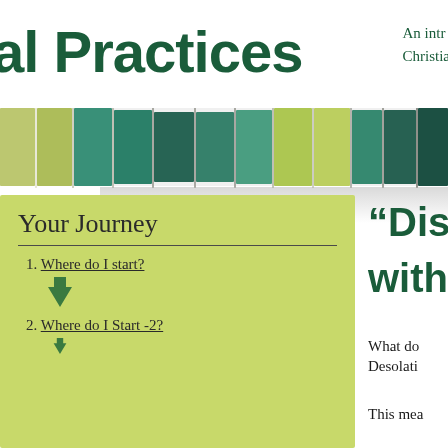al Practices  An intr Christian
[Figure (illustration): Decorative mosaic/tile band with green, teal, and yellow-green colored rectangular tiles arranged horizontally]
Your Journey
1. Where do I start?
2. Where do I Start -2?
“Disc with D
What do Desolati
This mea